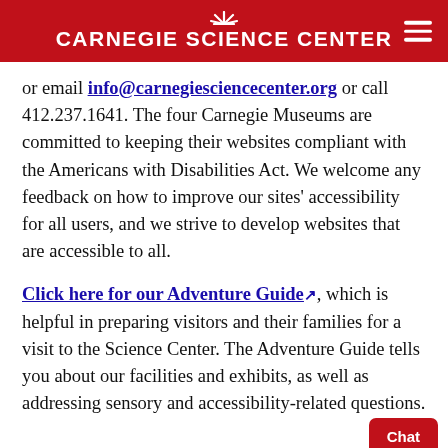CARNEGIE SCIENCE CENTER
or email info@carnegiesciencecenter.org or call 412.237.1641. The four Carnegie Museums are committed to keeping their websites compliant with the Americans with Disabilities Act. We welcome any feedback on how to improve our sites' accessibility for all users, and we strive to develop websites that are accessible to all.
Click here for our Adventure Guide, which is helpful in preparing visitors and their families for a visit to the Science Center. The Adventure Guide tells you about our facilities and exhibits, as well as addressing sensory and accessibility-related questions.